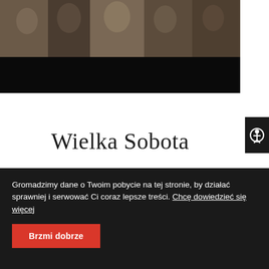[Figure (photo): Photograph of ornate stone sculptures or carvings, appearing to be religious or architectural figures, shown in a wide banner format with a dark black area at the bottom of the image.]
Wielka Sobota
Gromadzimy dane o Twoim pobycie na tej stronie, by działać sprawniej i serwować Ci coraz lepsze treści. Chcę dowiedzieć się więcej
Brzmi dobrze